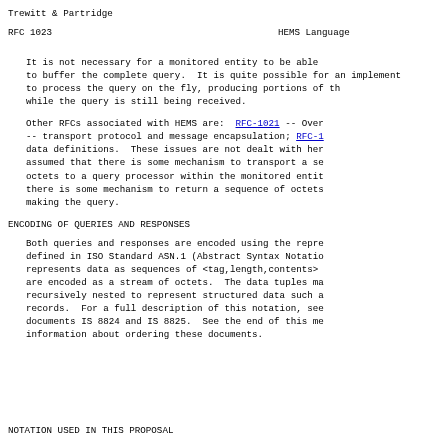Trewitt & Partridge
RFC 1023                        HEMS Language
It is not necessary for a monitored entity to be able to buffer the complete query.  It is quite possible for an implementation to process the query on the fly, producing portions of the response while the query is still being received.
Other RFCs associated with HEMS are:  RFC-1021 -- Overview -- transport protocol and message encapsulation; RFC-1 data definitions.  These issues are not dealt with here.  It is assumed that there is some mechanism to transport a sequence of octets to a query processor within the monitored entity, and that there is some mechanism to return a sequence of octets to the entity making the query.
ENCODING OF QUERIES AND RESPONSES
Both queries and responses are encoded using the representation defined in ISO Standard ASN.1 (Abstract Syntax Notation) which represents data as sequences of <tag,length,contents> tuples that are encoded as a stream of octets.  The data tuples may be recursively nested to represent structured data such as lists and records.  For a full description of this notation, see ISO documents IS 8824 and IS 8825.  See the end of this memo for information about ordering these documents.
NOTATION USED IN THIS PROPOSAL